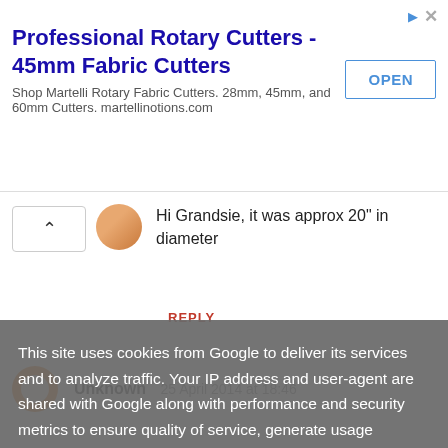[Figure (infographic): Advertisement banner for Professional Rotary Cutters - 45mm Fabric Cutters with OPEN button and close/arrow icons]
Hi Grandsie, it was approx 20" in diameter
REPLY
Unknown  25 April 2014 at 18:46
This site uses cookies from Google to deliver its services and to analyze traffic. Your IP address and user-agent are shared with Google along with performance and security metrics to ensure quality of service, generate usage statistics, and to detect and address abuse.
LEARN MORE    OK